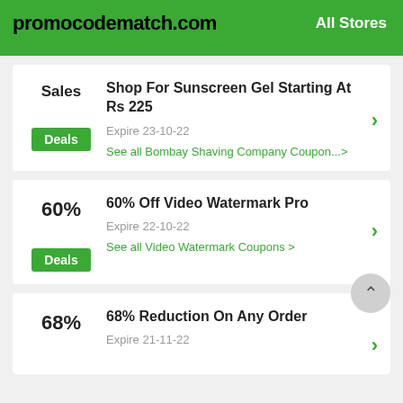promocodematch.com | All Stores
Sales
Deals
Shop For Sunscreen Gel Starting At Rs 225
Expire 23-10-22
See all Bombay Shaving Company Coupon...>
60%
Deals
60% Off Video Watermark Pro
Expire 22-10-22
See all Video Watermark Coupons >
68%
68% Reduction On Any Order
Expire 21-11-22